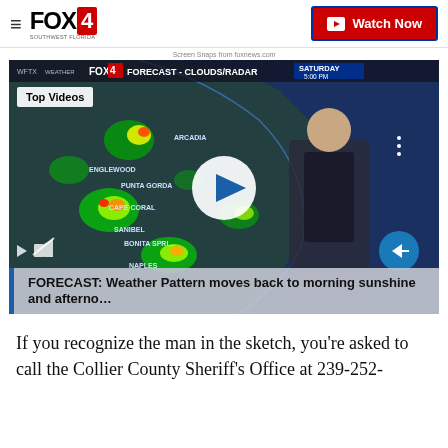FOX4 | Watch Now
Screen Snaps from foxnews.com
[Figure (screenshot): FOX4 weather forecast video player showing radar/clouds map of Southwest Florida with meteorologist. Top Videos label visible. Video controls at bottom. Caption overlay reads: FORECAST: Weather Pattern moves back to morning sunshine and afterno...]
If you recognize the man in the sketch, you're asked to call the Collier County Sheriff's Office at 239-252-